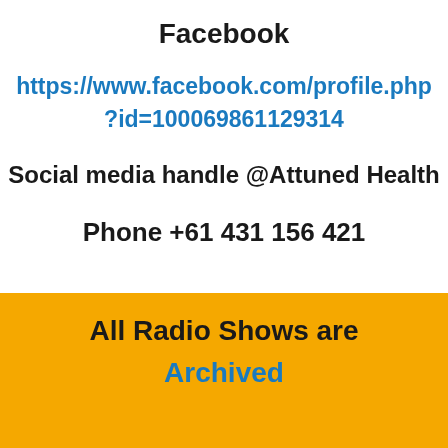Facebook
https://www.facebook.com/profile.php?id=100069861129314
Social media handle @Attuned Health
Phone  +61 431 156 421
All Radio Shows are
Archived